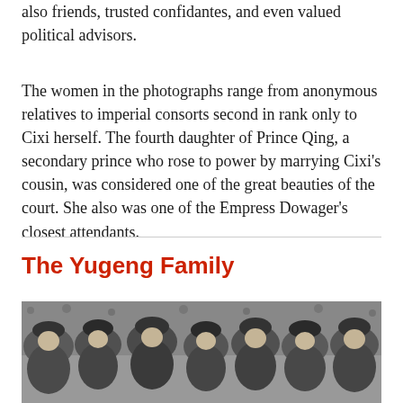also friends, trusted confidantes, and even valued political advisors.
The women in the photographs range from anonymous relatives to imperial consorts second in rank only to Cixi herself. The fourth daughter of Prince Qing, a secondary prince who rose to power by marrying Cixi’s cousin, was considered one of the great beauties of the court. She also was one of the Empress Dowager’s closest attendants.
The Yugeng Family
[Figure (photo): Black-and-white historical group photograph showing multiple women in traditional Qing dynasty court attire with elaborate headdresses, set against a backdrop of foliage and architecture.]